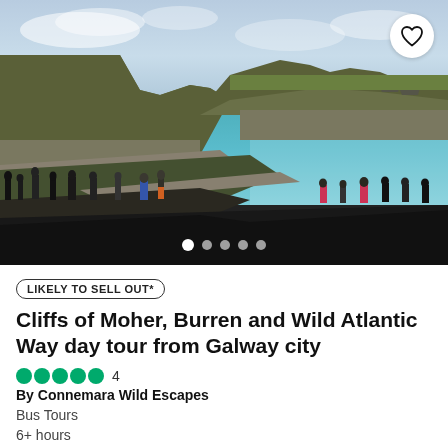[Figure (photo): Aerial view of Cliffs of Moher, Ireland, with tourists on a walkway in the foreground and the Atlantic Ocean visible. A heart/wishlist button appears in the top-right corner. Carousel dots appear at the bottom of the image.]
LIKELY TO SELL OUT*
Cliffs of Moher, Burren and Wild Atlantic Way day tour from Galway city
4
By Connemara Wild Escapes
Bus Tours
6+ hours
This day tour takes in scenic destinations along the iconic...